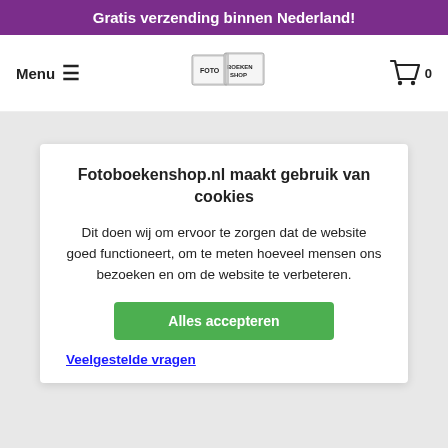Gratis verzending binnen Nederland!
[Figure (screenshot): Navigation bar with Menu hamburger icon, Fotoboekenshop logo (two open books with text), and shopping cart icon with 0]
Fotoboekenshop.nl maakt gebruik van cookies
Dit doen wij om ervoor te zorgen dat de website goed functioneert, om te meten hoeveel mensen ons bezoeken en om de website te verbeteren.
Alles accepteren
Veelgestelde vragen